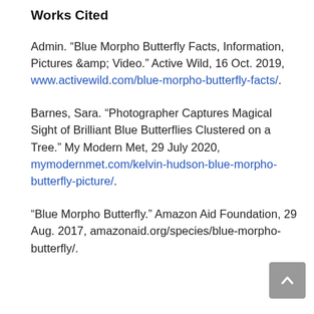Works Cited
Admin. “Blue Morpho Butterfly Facts, Information, Pictures &amp; Video.” Active Wild, 16 Oct. 2019, www.activewild.com/blue-morpho-butterfly-facts/.
Barnes, Sara. “Photographer Captures Magical Sight of Brilliant Blue Butterflies Clustered on a Tree.” My Modern Met, 29 July 2020, mymodernmet.com/kelvin-hudson-blue-morpho-butterfly-picture/.
“Blue Morpho Butterfly.” Amazon Aid Foundation, 29 Aug. 2017, amazonaid.org/species/blue-morpho-butterfly/.